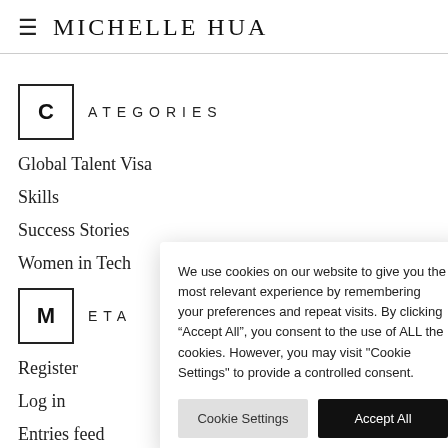MICHELLE HUA
CATEGORIES
Global Talent Visa
Skills
Success Stories
Women in Tech
META
Register
Log in
Entries feed
We use cookies on our website to give you the most relevant experience by remembering your preferences and repeat visits. By clicking “Accept All”, you consent to the use of ALL the cookies. However, you may visit "Cookie Settings" to provide a controlled consent.